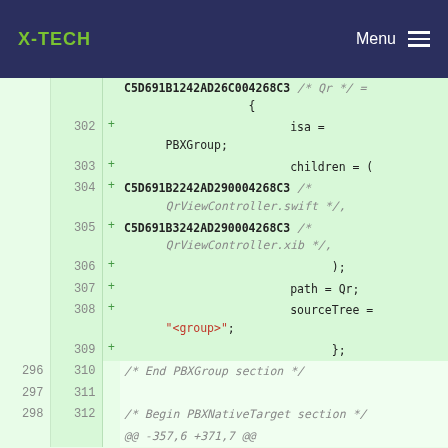X-TECH   Menu
[Figure (screenshot): Code diff view showing PBXGroup section of a project file. Lines 302-312 shown with added lines (green highlight, + marker) and context lines. Code includes PBXGroup entries with identifiers C5D691B1242AD26C004268C3, C5D691B2242AD290004268C3, C5D691B3242AD290004268C3, with properties isa, children, path, sourceTree. Also shows End PBXGroup section and Begin PBXNativeTarget section comments.]